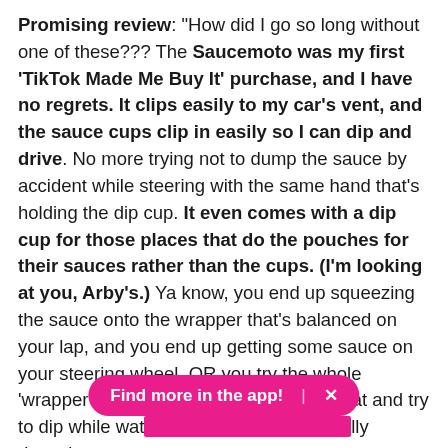Promising review: "How did I go so long without one of these??? The Saucemoto was my first 'TikTok Made Me Buy It' purchase, and I have no regrets. It clips easily to my car's vent, and the sauce cups clip in easily so I can dip and drive. No more trying not to dump the sauce by accident while steering with the same hand that's holding the dip cup. It even comes with a dip cup for those places that do the pouches for their sauces rather than the cups. (I'm looking at you, Arby's.) Ya know, you end up squeezing the sauce onto the wrapper that's balanced on your lap, and you end up getting some sauce on your steering wheel. OR you try the whole 'wrapper and sauce on the passenger seat and try to dip while watching... lly doesn't turn out so great. — Pleasure Pamela